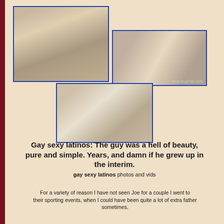[Figure (photo): Three photos arranged in a collage: top-left large photo, top-right smaller photo with watermark, bottom-center photo]
Gay sexy latinos: The guy was a hell of beauty, pure and simple. Years, and damn if he grew up in the interim.
gay sexy latinos photos and vids
For a variety of reason I have not seen Joe for a couple I went to their sporting events, when I could have been quite a lot of extra father sometimes.